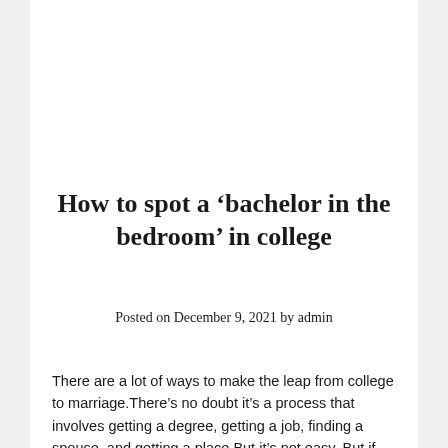How to spot a ‘bachelor in the bedroom’ in college
Posted on December 9, 2021 by admin
There are a lot of ways to make the leap from college to marriage.There’s no doubt it’s a process that involves getting a degree, getting a job, finding a spouse, and getting a place.But it’s not easy. But if you can get through a year of your life without getting a divorce, you